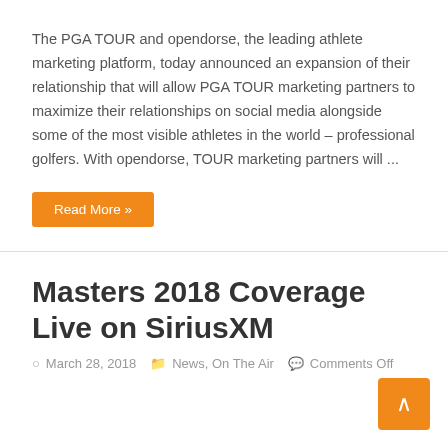The PGA TOUR and opendorse, the leading athlete marketing platform, today announced an expansion of their relationship that will allow PGA TOUR marketing partners to maximize their relationships on social media alongside some of the most visible athletes in the world – professional golfers. With opendorse, TOUR marketing partners will ...
Read More »
Masters 2018 Coverage Live on SiriusXM
March 28, 2018   News, On The Air   Comments Off